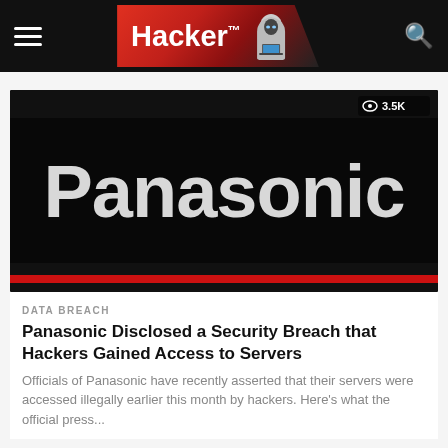Hacker™ — navigation header with hamburger menu and search icon
[Figure (screenshot): Panasonic logo on black background with red accent stripe at bottom, labeled with view count 3.5K]
DATA BREACH
Panasonic Disclosed a Security Breach that Hackers Gained Access to Servers
Officials of Panasonic have recently asserted that their servers were accessed illegally earlier this month by hackers. Here's what the official press...
[Figure (photo): Photo of white rounded square tiles/patches on a blue surface, with view count 1.1K]